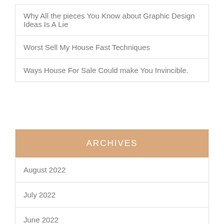Why All the pieces You Know about Graphic Design Ideas Is A Lie
Worst Sell My House Fast Techniques
Ways House For Sale Could make You Invincible.
ARCHIVES
August 2022
July 2022
June 2022
May 2022